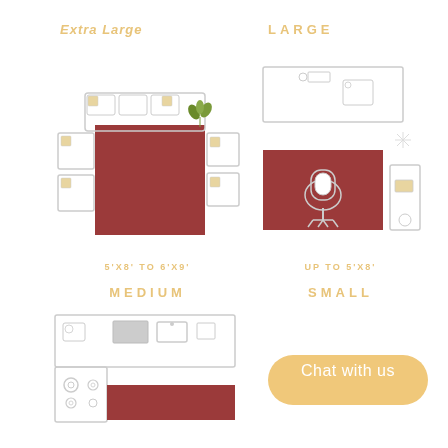Extra Large
LARGE
[Figure (illustration): Floor plan showing Extra Large rug (5x8 to 6x9) under living room furniture: sofa, two arm chairs, side table, plant]
5'X8' TO 6'X9'
[Figure (illustration): Floor plan showing Large rug (up to 5x8) under desk setup with office chair]
UP TO 5'X8'
MEDIUM
SMALL
[Figure (illustration): Floor plan showing Medium rug in kitchen/hallway area with appliances and runner rug]
[Figure (illustration): Chat with us button]
Chat with us